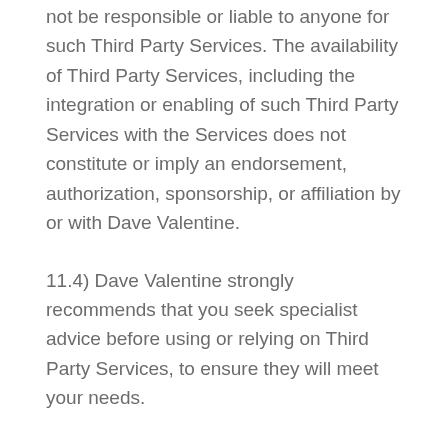not be responsible or liable to anyone for such Third Party Services. The availability of Third Party Services, including the integration or enabling of such Third Party Services with the Services does not constitute or imply an endorsement, authorization, sponsorship, or affiliation by or with Dave Valentine.
11.4) Dave Valentine strongly recommends that you seek specialist advice before using or relying on Third Party Services, to ensure they will meet your needs.
11.5) If you install or enable a Third Party Service for use with the Services, you...